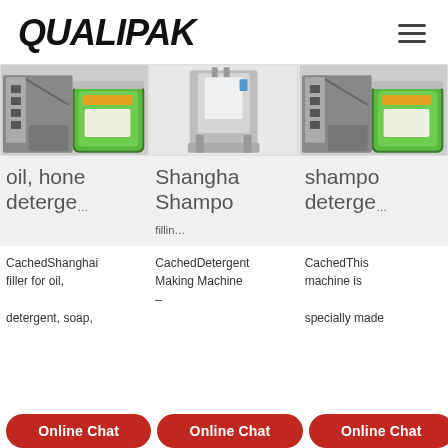QUALIPAK
[Figure (photo): Three product images showing packaging machines and product bags (mung bean sprouts) in a horizontal row]
oil, hone detergent | Shanghai Shampo filling | shampo detergent
Cachedshanghai filler for oil, detergent, soap, | CachedDetergent Making Machine – | CachedThis machine is specially made
Online Chat | Online Chat | Online Chat